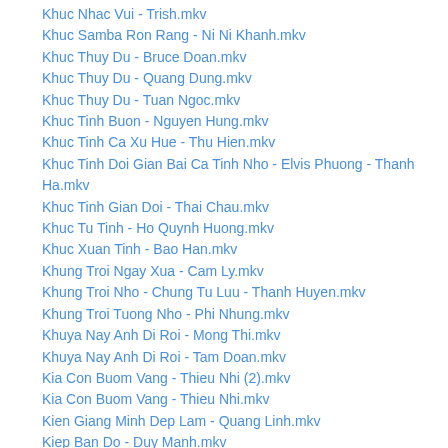Khuc Nhac Vui - Trish.mkv
Khuc Samba Ron Rang - Ni Ni Khanh.mkv
Khuc Thuy Du - Bruce Doan.mkv
Khuc Thuy Du - Quang Dung.mkv
Khuc Thuy Du - Tuan Ngoc.mkv
Khuc Tinh Buon - Nguyen Hung.mkv
Khuc Tinh Ca Xu Hue - Thu Hien.mkv
Khuc Tinh Doi Gian Bai Ca Tinh Nho - Elvis Phuong - Thanh Ha.mkv
Khuc Tinh Gian Doi - Thai Chau.mkv
Khuc Tu Tinh - Ho Quynh Huong.mkv
Khuc Xuan Tinh - Bao Han.mkv
Khung Troi Ngay Xua - Cam Ly.mkv
Khung Troi Nho - Chung Tu Luu - Thanh Huyen.mkv
Khung Troi Tuong Nho - Phi Nhung.mkv
Khuya Nay Anh Di Roi - Mong Thi.mkv
Khuya Nay Anh Di Roi - Tam Doan.mkv
Kia Con Buom Vang - Thieu Nhi (2).mkv
Kia Con Buom Vang - Thieu Nhi.mkv
Kien Giang Minh Dep Lam - Quang Linh.mkv
Kiep Ban Do - Duy Manh.mkv
Kiep Ca Sau - Huy Vu - Minh Tuyet.mkv
Kiep Cam Ca - Da Nhat Yen.mkv